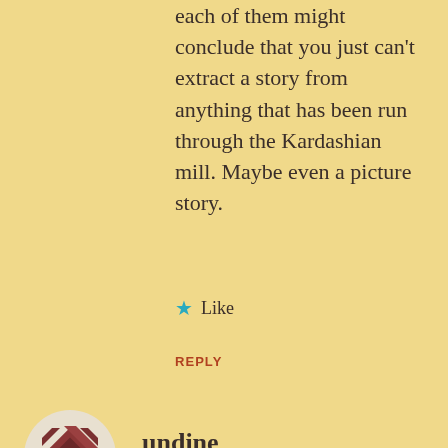each of them might conclude that you just can't extract a story from anything that has been run through the Kardashian mill. Maybe even a picture story.
★ Like
REPLY
[Figure (logo): User avatar for undine: abstract geometric square shape made of overlapping dark red/burgundy angular pieces]
undine
JUNE 2, 2015 AT 1:02 PM
At the risk of slighting Annie Liebowitz's photography, she's not always innovative, though she's usually